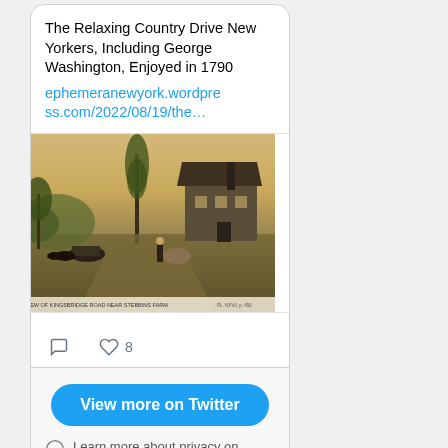The Relaxing Country Drive New Yorkers, Including George Washington, Enjoyed in 1790
ephemeranewyork.wordpress.com/2022/08/19/the…
[Figure (illustration): Historical painting or illustration of a rural country scene with a horse-drawn carriage on a road, trees, and a farmhouse. Caption reads: VIEW OF KINGSBRIDGE ROAD NEAR STEBBINS FARM]
8 likes
View more on Twitter
Learn more about privacy on Twitter